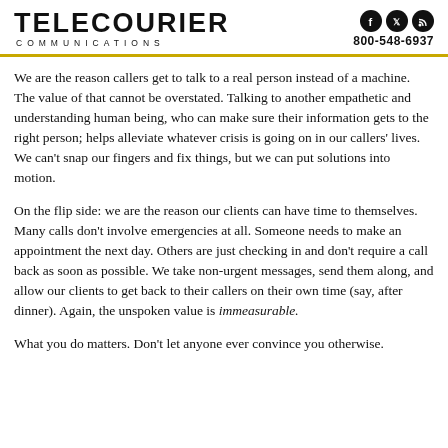TELECOURIER COMMUNICATIONS | 800-548-6937
We are the reason callers get to talk to a real person instead of a machine. The value of that cannot be overstated. Talking to another empathetic and understanding human being, who can make sure their information gets to the right person; helps alleviate whatever crisis is going on in our callers' lives. We can't snap our fingers and fix things, but we can put solutions into motion.
On the flip side: we are the reason our clients can have time to themselves. Many calls don't involve emergencies at all. Someone needs to make an appointment the next day. Others are just checking in and don't require a call back as soon as possible. We take non-urgent messages, send them along, and allow our clients to get back to their callers on their own time (say, after dinner). Again, the unspoken value is immeasurable.
What you do matters. Don't let anyone ever convince you otherwise.